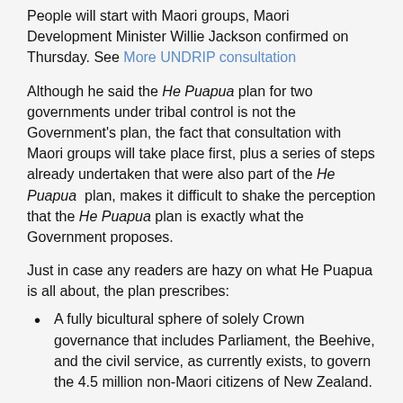People will start with Maori groups, Maori Development Minister Willie Jackson confirmed on Thursday. See More UNDRIP consultation
Although he said the He Puapua plan for two governments under tribal control is not the Government's plan, the fact that consultation with Maori groups will take place first, plus a series of steps already undertaken that were also part of the He Puapua plan, makes it difficult to shake the perception that the He Puapua plan is exactly what the Government proposes.
Just in case any readers are hazy on what He Puapua is all about, the plan prescribes:
A fully bicultural sphere of solely Crown governance that includes Parliament, the Beehive, and the civil service, as currently exists, to govern the 4.5 million non-Maori citizens of New Zealand.
A sphere of solely Maori governance, with the same